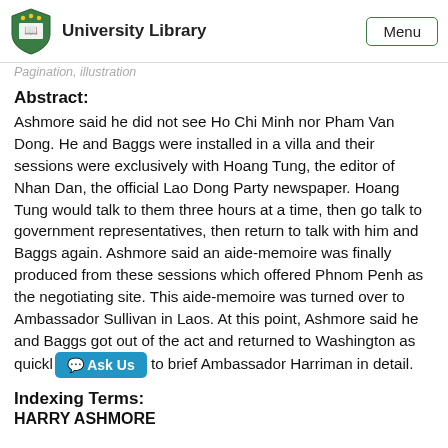University Library | Menu
Pagination, illustration
Abstract:
Ashmore said he did not see Ho Chi Minh nor Pham Van Dong. He and Baggs were installed in a villa and their sessions were exclusively with Hoang Tung, the editor of Nhan Dan, the official Lao Dong Party newspaper. Hoang Tung would talk to them three hours at a time, then go talk to government representatives, then return to talk with him and Baggs again. Ashmore said an aide-memoire was finally produced from these sessions which offered Phnom Penh as the negotiating site. This aide-memoire was turned over to Ambassador Sullivan in Laos. At this point, Ashmore said he and Baggs got out of the act and returned to Washington as quickly [Ask Us] to brief Ambassador Harriman in detail.
Indexing Terms:
HARRY ASHMORE